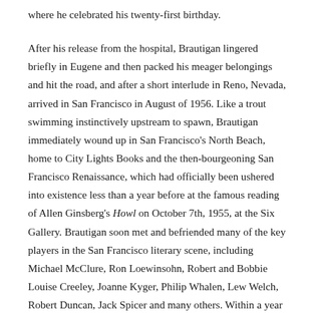where he celebrated his twenty-first birthday.

After his release from the hospital, Brautigan lingered briefly in Eugene and then packed his meager belongings and hit the road, and after a short interlude in Reno, Nevada, arrived in San Francisco in August of 1956. Like a trout swimming instinctively upstream to spawn, Brautigan immediately wound up in San Francisco's North Beach, home to City Lights Books and the then-bourgeoning San Francisco Renaissance, which had officially been ushered into existence less than a year before at the famous reading of Allen Ginsberg's Howl on October 7th, 1955, at the Six Gallery. Brautigan soon met and befriended many of the key players in the San Francisco literary scene, including Michael McClure, Ron Loewinsohn, Robert and Bobbie Louise Creeley, Joanne Kyger, Philip Whalen, Lew Welch, Robert Duncan, Jack Spicer and many others. Within a year of his arriving in San Francisco, Brautigan had integrated himself...